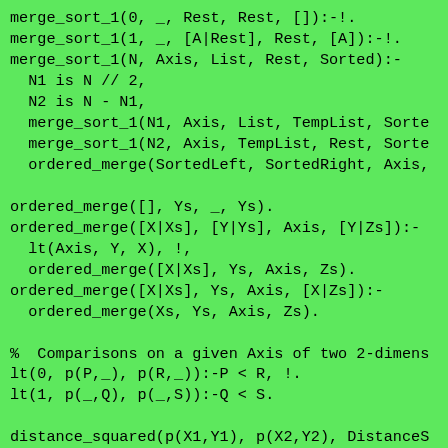merge_sort_1(0, _, Rest, Rest, []):-!.
merge_sort_1(1, _, [A|Rest], Rest, [A]):-!.
merge_sort_1(N, Axis, List, Rest, Sorted):-
  N1 is N // 2,
  N2 is N - N1,
  merge_sort_1(N1, Axis, List, TempList, Sorte
  merge_sort_1(N2, Axis, TempList, Rest, Sorte
  ordered_merge(SortedLeft, SortedRight, Axis,

ordered_merge([], Ys, _, Ys).
ordered_merge([X|Xs], [Y|Ys], Axis, [Y|Zs]):-
  lt(Axis, Y, X), !,
  ordered_merge([X|Xs], Ys, Axis, Zs).
ordered_merge([X|Xs], Ys, Axis, [X|Zs]):-
  ordered_merge(Xs, Ys, Axis, Zs).

%  Comparisons on a given Axis of two 2-dimens
lt(0, p(P,_), p(R,_)):-P < R, !.
lt(1, p(_,Q), p(_,S)):-Q < S.

distance_squared(p(X1,Y1), p(X2,Y2), DistanceS
  X1_X2 is X1 - X2,
  Y1_Y2 is Y1 - Y2,
  DistanceSquared is X1_X2*X1_X2 + Y1_Y2*Y1_Y2